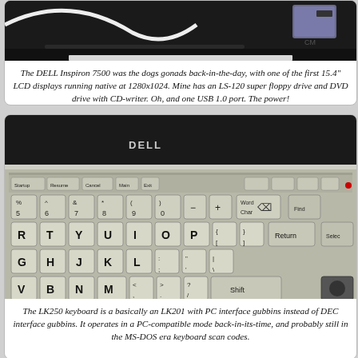[Figure (photo): Top portion of a DELL Inspiron 7500 laptop showing the top edge with a floppy disk visible, cables, and dark chassis.]
The DELL Inspiron 7500 was the dogs gonads back-in-the-day, with one of the first 15.4" LCD displays running native at 1280x1024. Mine has an LS-120 super floppy drive and DVD drive with CD-writer. Oh, and one USB 1.0 port. The power!
[Figure (photo): Close-up photograph of a DEC LK250 keyboard, showing cream/beige keys including function keys, alphanumeric keys (R, T, Y, U, I, O, P, G, H, J, K, L, V, B, N, M), with orange sub-legends and a Dell laptop visible in the background.]
The LK250 keyboard is a basically an LK201 with PC interface gubbins instead of DEC interface gubbins. It operates in a PC-compatible mode back-in-its-time, and probably still in the MS-DOS era keyboard scan codes.